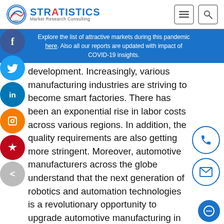Stratistics Market Research Consulting
Explore the list of attractive markets during this pandemic here. Also all our reports are updated with impact of COVID-19 insights.
development. Increasingly, various manufacturing industries are striving to become smart factories. There has been an exponential rise in labor costs across various regions. In addition, the quality requirements are also getting more stringent. Moreover, automotive manufacturers across the globe understand that the next generation of robotics and automation technologies is a revolutionary opportunity to upgrade automotive manufacturing in terms of productivity, quality, safety, and cost metrics. In addition, increased year-on-year robotic automation expenditure is projected to have a positive impact on the demand for robot automation systems.